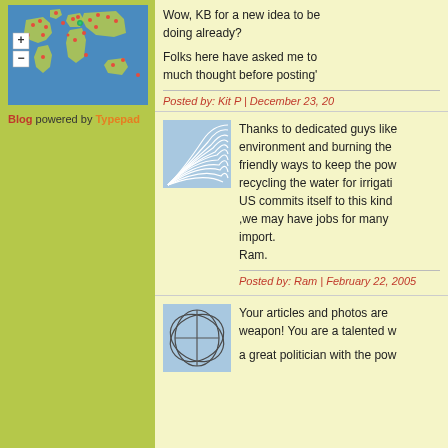[Figure (map): World map with red dot markers showing visitor locations, with zoom in/out controls]
Blog powered by Typepad
Wow, KB for a new idea to be doing already?
Folks here have asked me to much thought before posting'
Posted by: Kit P | December 23, 20
[Figure (illustration): Blue and white abstract fan/wave lines illustration]
Thanks to dedicated guys like environment and burning the friendly ways to keep the pow recycling the water for irrigati US commits itself to this kind ,we may have jobs for many import.
Ram.
Posted by: Ram | February 22, 2005
[Figure (illustration): Blue and white abstract network/lines illustration]
Your articles and photos are weapon! You are a talented w
a great politician with the pow